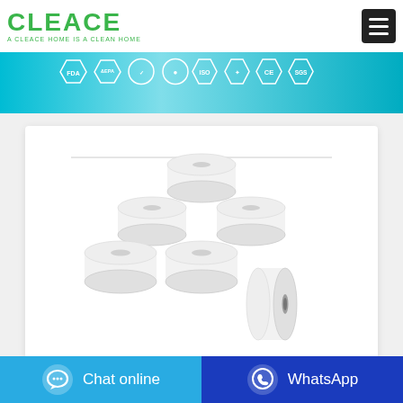[Figure (logo): CLEACE brand logo in green text with tagline 'A CLEACE HOME IS A CLEAN HOME']
[Figure (infographic): Certification badges banner: FDA, EPA, and several other certification hexagon/shield icons including CE and SGS, on a teal/cyan gradient background]
[Figure (photo): Product photo of multiple white toilet paper rolls stacked in a pyramid arrangement on white background]
Chat online
WhatsApp